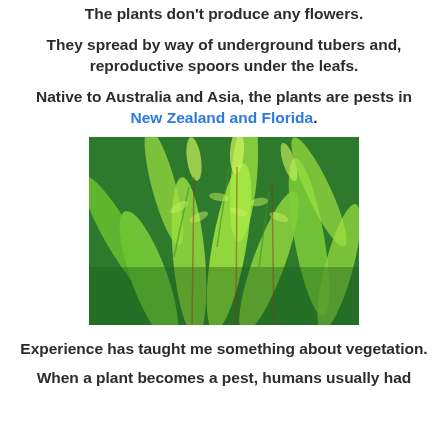The plants don't produce any flowers.
They spread by way of underground tubers and, reproductive spoors under the leafs.
Native to Australia and Asia, the plants are pests in New Zealand and Florida.
[Figure (photo): Close-up photograph of dense green fern fronds with feathery leaves filling the entire frame.]
Experience has taught me something about vegetation.
When a plant becomes a pest, humans usually had